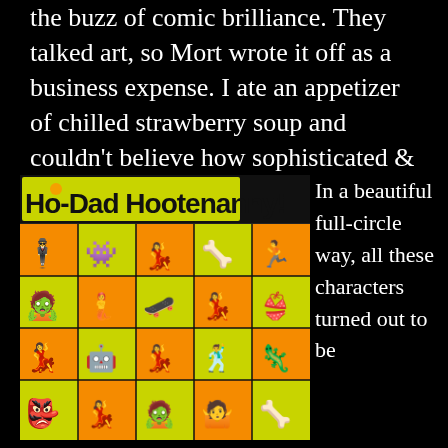the buzz of comic brilliance. They talked art, so Mort wrote it off as a business expense. I ate an appetizer of chilled strawberry soup and couldn't believe how sophisticated & awesome my life was.
[Figure (photo): Cover of 'Ho-Dad Hootenanny!' featuring cartoon characters on orange and green checkered background]
In a beautiful full-circle way, all these characters turned out to be